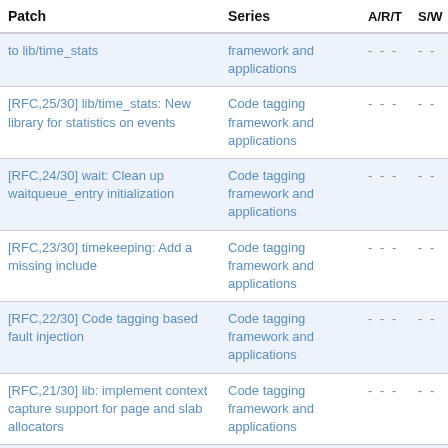| Patch | Series | A/R/T | S/W |
| --- | --- | --- | --- |
| to lib/time_stats | framework and applications | - - - | - - |
| [RFC,25/30] lib/time_stats: New library for statistics on events | Code tagging framework and applications | - - - | - - |
| [RFC,24/30] wait: Clean up waitqueue_entry initialization | Code tagging framework and applications | - - - | - - |
| [RFC,23/30] timekeeping: Add a missing include | Code tagging framework and applications | - - - | - - |
| [RFC,22/30] Code tagging based fault injection | Code tagging framework and applications | - - - | - - |
| [RFC,21/30] lib: implement context capture support for page and slab allocators | Code tagging framework and applications | - - - | - - |
| [RFC,20/30] lib: introduce support for storing code tag context | Code tagging framework and applications | - - - | - - |